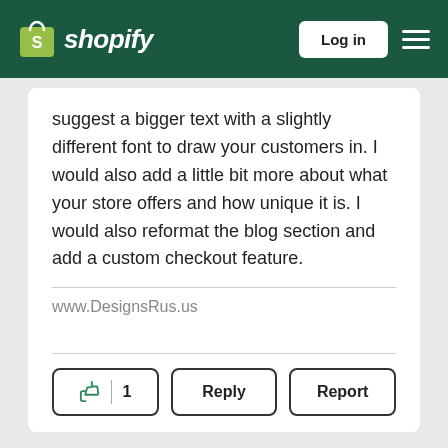shopify — Log in
suggest a bigger text with a slightly different font to draw your customers in. I would also add a little bit more about what your store offers and how unique it is. I would also reformat the blog section and add a custom checkout feature.
www.DesignsRus.us